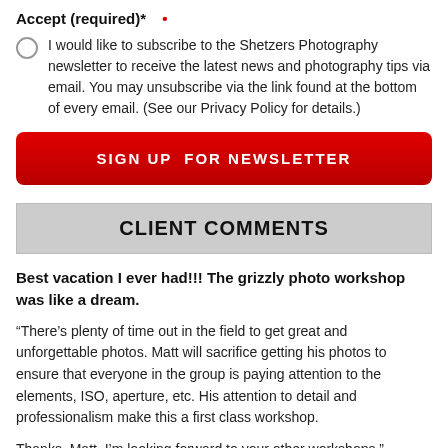Accept (required)* •
I would like to subscribe to the Shetzers Photography newsletter to receive the latest news and photography tips via email. You may unsubscribe via the link found at the bottom of every email. (See our Privacy Policy for details.)
SIGN UP  FOR NEWSLETTER
CLIENT COMMENTS
Best vacation I ever had!!! The grizzly photo workshop was like a dream.
“There’s plenty of time out in the field to get great and unforgettable photos. Matt will sacrifice getting his photos to ensure that everyone in the group is paying attention to the elements, ISO, aperture, etc. His attention to detail and professionalism make this a first class workshop.
Thanks, Matt. I’m looking forward to your other workshops.”